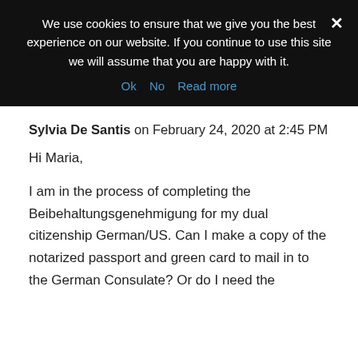We use cookies to ensure that we give you the best experience on our website. If you continue to use this site we will assume that you are happy with it. Ok  No  Read more
Sylvia De Santis on February 24, 2020 at 2:45 PM
Hi Maria,
I am in the process of completing the Beibehaltungsgenehmigung for my dual citizenship German/US. Can I make a copy of the notarized passport and green card to mail in to the German Consulate? Or do I need the